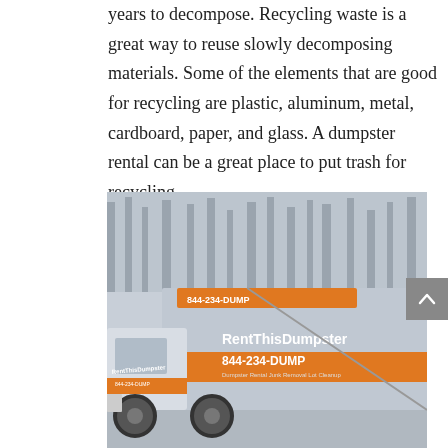years to decompose. Recycling waste is a great way to reuse slowly decomposing materials. Some of the elements that are good for recycling are plastic, aluminum, metal, cardboard, paper, and glass. A dumpster rental can be a great place to put trash for recycling.
[Figure (photo): A RentThisDumpster branded truck with orange and grey colors, parked outdoors with bare trees in the background. The truck displays 'RentThisDumpster' and '844-234-DUMP' on its side.]